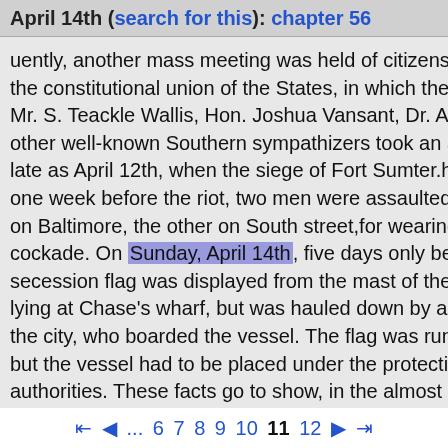April 14th (search for this): chapter 56
uently, another mass meeting was held of citizens in favor of restoring the constitutional union of the States, in which the Hon. R. M. McLane, Mr. S. Teackle Wallis, Hon. Joshua Vansant, Dr. A. C. Robinson, and other well-known Southern sympathizers took an active part. Even as late as April 12th, when the siege of Fort Sumter.had begun, and only one week before the riot, two men were assaulted and mobbed, one on Baltimore, the other on South street,for wearing a Southern cockade. On Sunday, April 14th, five days only before the riot, a secession flag was displayed from the mast of the Fanny Crenshaw lying at Chase's wharf, but was hauled down by a party of men from the city, who boarded the vessel. The flag was run up again, however, but the vessel had to be placed under the protection of the police authorities. These facts go to show, in the almost utter absence of manifestations to the contrary, that Baltimore was not at that time a secessionist city; and, had the subsequent pol
◀◀ ◀ ... 6 7 8 9 10 11 12 ▶ ▶▶